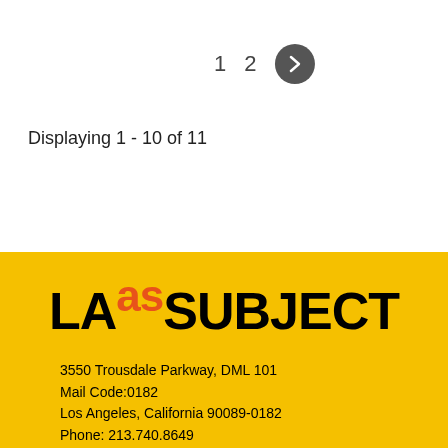1  2  >
Displaying 1 - 10 of 11
[Figure (logo): LA as SUBJECT logo — black bold text 'LA' then orange superscript 'as' then black bold 'SUBJECT' on yellow background]
3550 Trousdale Parkway, DML 101
Mail Code:0182
Los Angeles, California 90089-0182
Phone: 213.740.8649
Email: ...